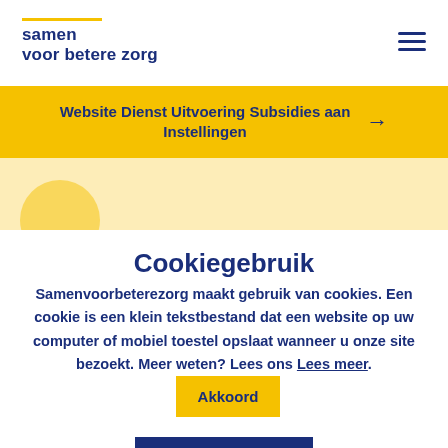[Figure (logo): Logo: samen voor betere zorg with yellow horizontal line above text]
Website Dienst Uitvoering Subsidies aan Instellingen →
Cookiegebruik
Samenvoorbeterezorg maakt gebruik van cookies. Een cookie is een klein tekstbestand dat een website op uw computer of mobiel toestel opslaat wanneer u onze site bezoekt. Meer weten? Lees ons Lees meer. Akkoord
Nee, liever niet